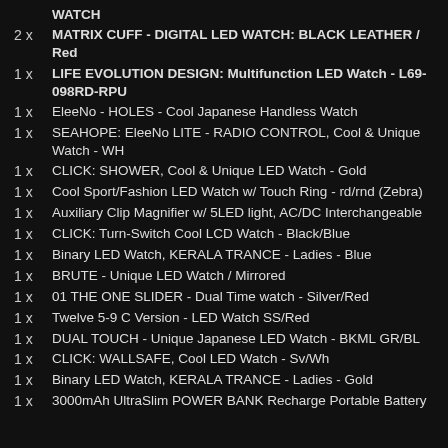WATCH
2 x    MATRIX CUFF - DIGITAL LED WATCH: BLACK LEATHER / Red
1 x    LIFE EVOLUTION DESIGN: Multifunction LED Watch - L69-098RD-RPU
1 x    EleeNo - HOLES - Cool Japanese Handless Watch
1 x    SEAHOPE: EleeNo LITE - RADIO CONTROL, Cool & Unique Watch - WH
1 x    CLICK: SHOWER, Cool & Unique LED Watch - Gold
1 x    Cool Sport/Fashion LED Watch w/ Touch Ring - rd/rnd (Zebra)
1 x    Auxiliary Clip Magnifier w/ 5LED light, AC/DC Interchangeable
1 x    CLICK: Turn-Switch Cool LCD Watch - Black/Blue
1 x    Binary LED Watch, KERALA TRANCE - Ladies - Blue
1 x    BRUTE - Unique LED Watch / Mirrored
1 x    01 THE ONE SLIDER - Dual Time watch - Silver/Red
1 x    Twelve 5-9 C Version - LED Watch SS/Red
1 x    DUAL TOUCH - Unique Japanese LED Watch - BKML GR/BL
1 x    CLICK: WALLSAFE, Cool LED Watch - Sv/Wh
1 x    Binary LED Watch, KERALA TRANCE - Ladies - Gold
1 x    3000mAh UltraSlim POWER BANK Recharge Portable Battery